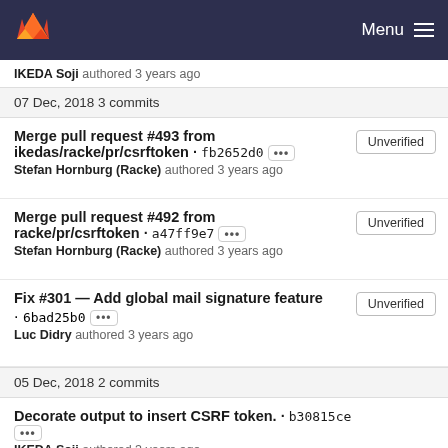Menu
IKEDA Soji authored 3 years ago
07 Dec, 2018 3 commits
Merge pull request #493 from ikedas/racke/pr/csrftoken · fb2652d0 ••• Stefan Hornburg (Racke) authored 3 years ago  Unverified
Merge pull request #492 from racke/pr/csrftoken · a47ff9e7 ••• Stefan Hornburg (Racke) authored 3 years ago  Unverified
Fix #301 — Add global mail signature feature · 6bad25b0 ••• Luc Didry authored 3 years ago  Unverified
05 Dec, 2018 2 commits
Decorate output to insert CSRF token. · b30815ce ••• IKEDA Soji authored 3 years ago